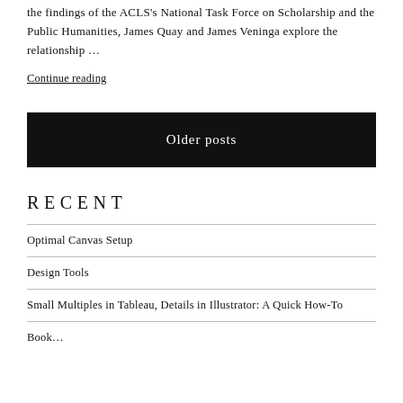the findings of the ACLS's National Task Force on Scholarship and the Public Humanities, James Quay and James Veninga explore the relationship …
Continue reading
Older posts
RECENT
Optimal Canvas Setup
Design Tools
Small Multiples in Tableau, Details in Illustrator: A Quick How-To
Book...